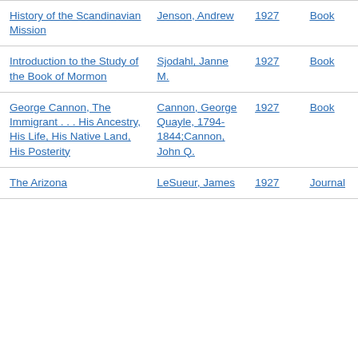| History of the Scandinavian Mission | Jenson, Andrew | 1927 | Book |
| Introduction to the Study of the Book of Mormon | Sjodahl, Janne M. | 1927 | Book |
| George Cannon, The Immigrant . . . His Ancestry, His Life, His Native Land, His Posterity | Cannon, George Quayle, 1794-1844;Cannon, John Q. | 1927 | Book |
| The Arizona | LeSueur, James | 1927 | Journal |